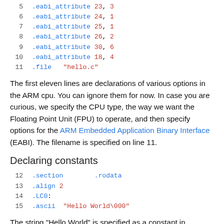[Figure (screenshot): Code block showing lines 5-11 of ARM assembly with .eabi_attribute directives and .file directive]
The first eleven lines are declarations of various options in the ARM cpu. You can ignore them for now. In case you are curious, we specify the CPU type, the way we want the Floating Point Unit (FPU) to operate, and then specify options for the ARM Embedded Application Binary Interface (EABI). The filename is specified on line 11.
Declaring constants
[Figure (screenshot): Code block showing lines 12-15 with .section .rodata, .align 2, .LC0:, and .ascii directives]
The string "Hello World" is specified as a constant in assembly on lines 12-15. It is in the Read Only DATA section (.section .rodata), it needs to be aligned on two byte